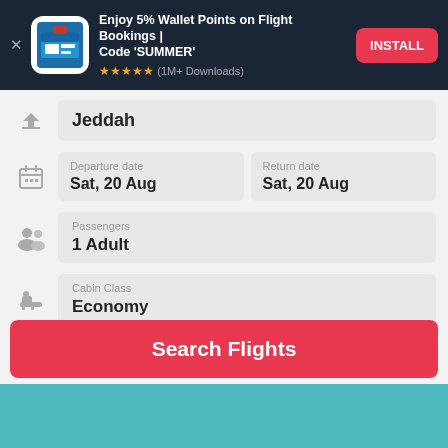[Figure (screenshot): App advertisement banner with dark navy background, app icon, title text 'Enjoy 5% Wallet Points on Flight Bookings | Code SUMMER', star rating, and red INSTALL button]
Jeddah
Departure date
Sat, 20 Aug
Return date
Sat, 20 Aug
Passengers
1 Adult
Cabin Class
Economy
Search Flights